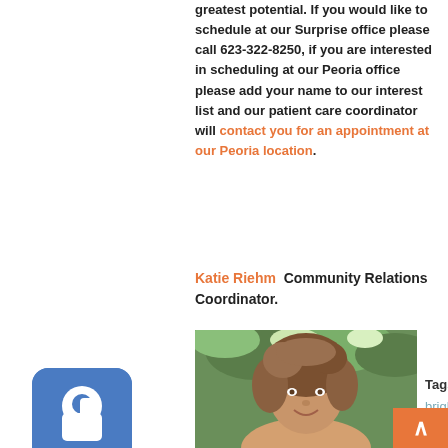greatest potential. If you would like to schedule at our Surprise office please call 623-322-8250, if you are interested in scheduling at our Peoria office please add your name to our interest list and our patient care coordinator will contact you for an appointment at our Peoria location.
Katie Riehm  Community Relations Coordinator.
[Figure (photo): Portrait photo of Katie Riehm, a woman with curly brown/blonde hair, smiling, with trees in background]
Tags: bright child learning